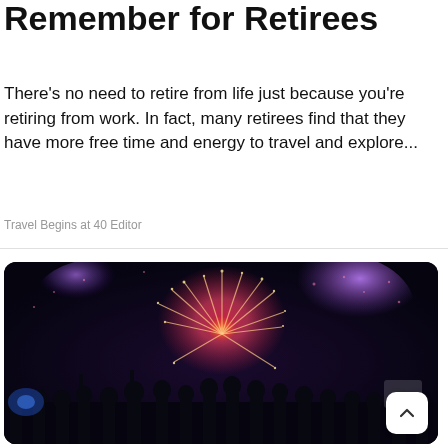Remember for Retirees
There's no need to retire from life just because you're retiring from work. In fact, many retirees find that they have more free time and energy to travel and explore...
Travel Begins at 40 Editor
[Figure (photo): Night scene of fireworks exploding over a crowd of silhouetted people. Purple and red fireworks light up the dark sky.]